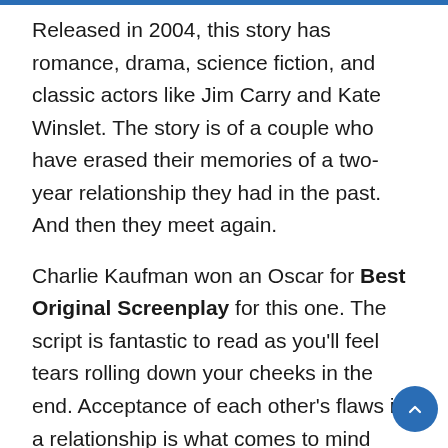Released in 2004, this story has romance, drama, science fiction, and classic actors like Jim Carry and Kate Winslet. The story is of a couple who have erased their memories of a two-year relationship they had in the past. And then they meet again.
Charlie Kaufman won an Oscar for Best Original Screenplay for this one. The script is fantastic to read as you'll feel tears rolling down your cheeks in the end. Acceptance of each other's flaws in a relationship is what comes to mind while reading it.